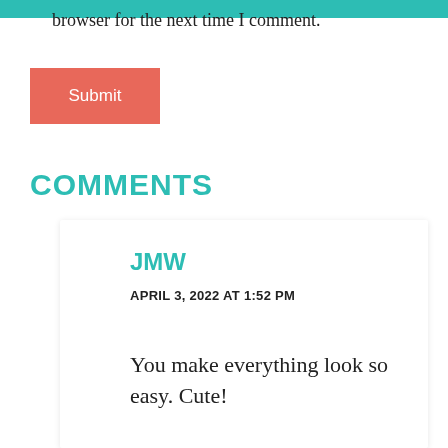browser for the next time I comment.
Submit
COMMENTS
JMW
APRIL 3, 2022 AT 1:52 PM
You make everything look so easy. Cute!